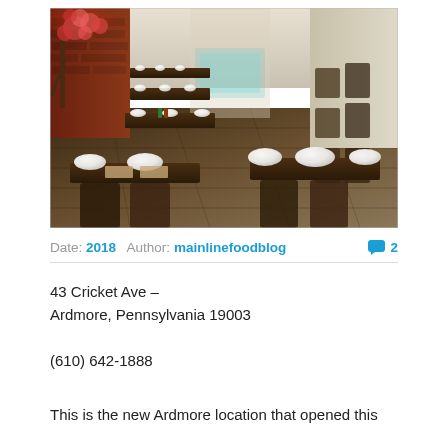[Figure (photo): Interior of an Asian restaurant showing dining tables set with white plates, chairs, a cherry blossom tree decoration on the left, brick walls, and a tiled floor. View looks down a long row of tables toward the back of the restaurant.]
Date: 2018   Author: mainlinefoodblog   💬 2
43 Cricket Ave –
Ardmore, Pennsylvania 19003
(610) 642-1888
This is the new Ardmore location that opened this